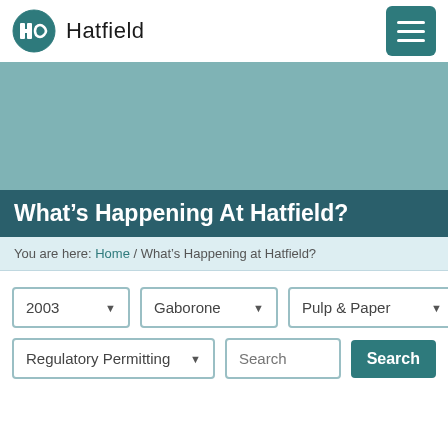Hatfield
What's Happening At Hatfield?
You are here: Home / What's Happening at Hatfield?
2003 | Gaborone | Pulp & Paper | Regulatory Permitting | Search | Search